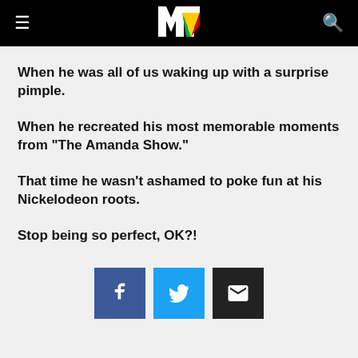MTV
When he was all of us waking up with a surprise pimple.
When he recreated his most memorable moments from "The Amanda Show."
That time he wasn't ashamed to poke fun at his Nickelodeon roots.
Stop being so perfect, OK?!
[Figure (infographic): Social share buttons: Facebook (blue), Twitter (light blue), Email (black)]